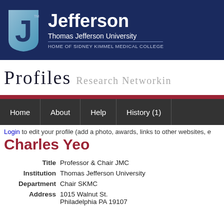[Figure (logo): Thomas Jefferson University logo — dark blue banner with stylized J logo and text 'Jefferson / Thomas Jefferson University / HOME OF SIDNEY KIMMEL MEDICAL COLLEGE']
PROFILES Research Networking
Home | About | Help | History (1)
Login to edit your profile (add a photo, awards, links to other websites, e
Charles Yeo
| Field | Value |
| --- | --- |
| Title | Professor & Chair JMC |
| Institution | Thomas Jefferson University |
| Department | Chair SKMC |
| Address | 1015 Walnut St.
Philadelphia PA 19107 |